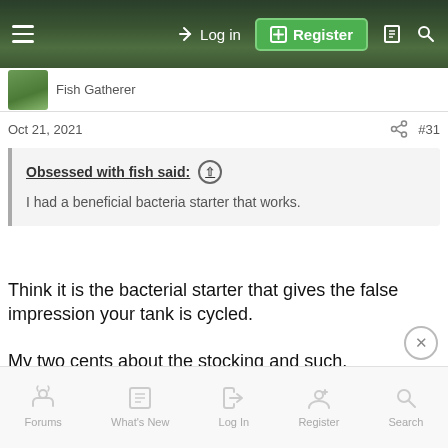Log in | Register
Fish Gatherer
Oct 21, 2021  #31
Obsessed with fish said: ↑
I had a beneficial bacteria starter that works.
Think it is the bacterial starter that gives the false impression your tank is cycled.
My two cents about the stocking and such.
28C is too warm (by far) for all mentioned fish old and new).
Forums  What's New  Log In  Register  Search